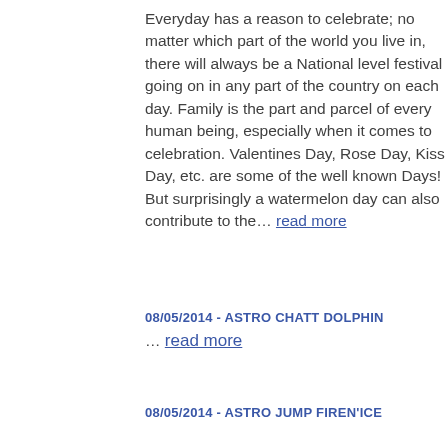Everyday has a reason to celebrate; no matter which part of the world you live in, there will always be a National level festival going on in any part of the country on each day. Family is the part and parcel of every human being, especially when it comes to celebration. Valentines Day, Rose Day, Kiss Day, etc. are some of the well known Days! But surprisingly a watermelon day can also contribute to the… read more
08/05/2014 - ASTRO CHATT DOLPHIN
… read more
08/05/2014 - ASTRO JUMP FIREN'ICE